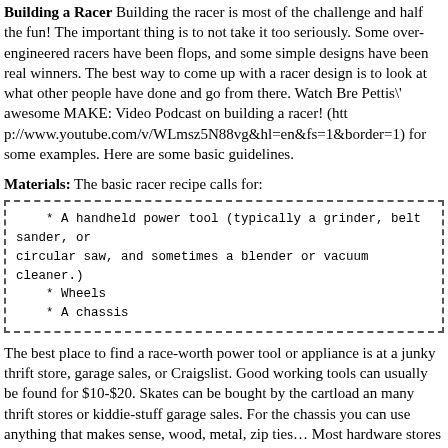Building a Racer Building the racer is most of the challenge and half the fun! The important thing is to not take it too seriously. Some over-engineered racers have been flops, and some simple designs have been real winners. The best way to come up with a racer design is to look at what other people have done and go from there. Watch Bre Pettis\' awesome MAKE: Video Podcast on building a racer! (http://www.youtube.com/v/WLmsz5N88vg&hl=en&fs=1&border=1) for some examples. Here are some basic guidelines.
Materials: The basic racer recipe calls for:
* A handheld power tool (typically a grinder, belt sander, or circular saw, and sometimes a blender or vacuum cleaner.)
    * Wheels
    * A chassis
The best place to find a race-worth power tool or appliance is at a junky thrift store, garage sales, or Craigslist. Good working tools can usually be found for $10-$20. Skates can be bought by the cartload an many thrift stores or kiddie-stuff garage sales. For the chassis you can use anything that makes sense, wood, metal, zip ties… Most hardware stores sell perforated angle iron that is easy to cut with a hacksaw and has nicely spaced holes in it, like the metal from an